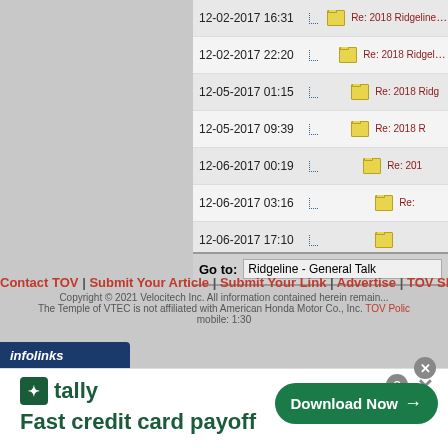| Date | Thread |
| --- | --- |
| 12-02-2017 16:31 | Re: 2018 Ridgeline RT... |
| 12-02-2017 22:20 | Re: 2018 Ridgeline... |
| 12-05-2017 01:15 | Re: 2018 Ridg... |
| 12-05-2017 09:39 | Re: 2018 R... |
| 12-06-2017 00:19 | Re: 201... |
| 12-06-2017 03:16 | Re:... |
| 12-06-2017 17:10 |  |
Go to: Ridgeline - General Talk
Contact TOV | Submit Your Article | Submit Your Link | Advertise | TOV Sh... Copyright © 2021 Velocitech Inc. All information contained herein remain... The Temple of VTEC is not affiliated with American Honda Motor Co., Inc. TOV Polic... mobile: 1:30
[Figure (advertisement): Tally app advertisement - Fast credit card payoff. Download Now button with arrow.]